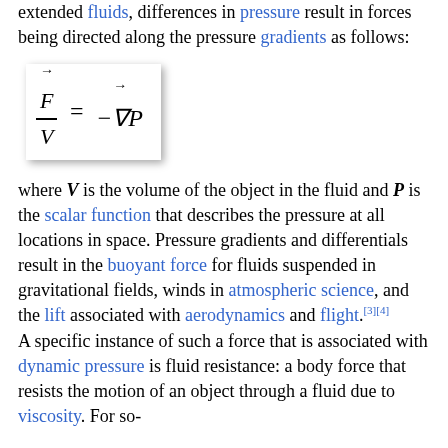extended fluids, differences in pressure result in forces being directed along the pressure gradients as follows:
where V is the volume of the object in the fluid and P is the scalar function that describes the pressure at all locations in space. Pressure gradients and differentials result in the buoyant force for fluids suspended in gravitational fields, winds in atmospheric science, and the lift associated with aerodynamics and flight.[3][4]
A specific instance of such a force that is associated with dynamic pressure is fluid resistance: a body force that resists the motion of an object through a fluid due to viscosity. For so-